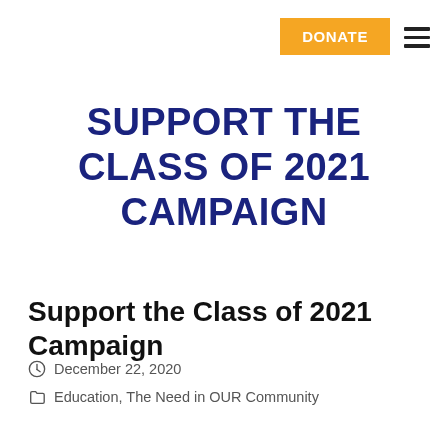DONATE
SUPPORT THE CLASS OF 2021 CAMPAIGN
Support the Class of 2021 Campaign
December 22, 2020
Education, The Need in OUR Community